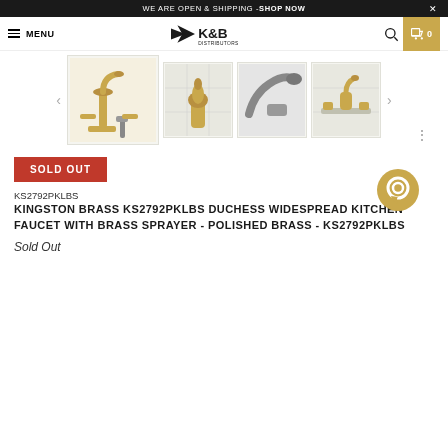WE ARE OPEN & SHIPPING - SHOP NOW
[Figure (screenshot): K&B Distributors navigation bar with hamburger menu, MENU text, K&B Distributors logo, search icon, and cart icon showing 0 items]
[Figure (photo): Four product thumbnail images of Kingston Brass KS2792PKLBS Duchess Widespread Kitchen Faucet with Brass Sprayer in Polished Brass]
SOLD OUT
KS2792PKLBS
KINGSTON BRASS KS2792PKLBS DUCHESS WIDESPREAD KITCHEN FAUCET WITH BRASS SPRAYER - POLISHED BRASS - KS2792PKLBS
Sold Out